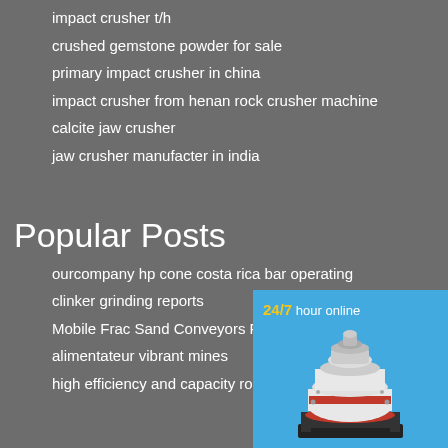impact crusher t/h
crushed gemstone powder for sale
primary impact crusher in china
impact crusher from henan rock crusher machine
calcite jaw crusher
jaw crusher manufacter in india
Popular Posts
ourcompany hp cone costa rica bar operating
clinker grinding reports
Mobile Frac Sand Conveyors For S
alimentateur vibrant mines
high efficiency and capacity rod mil
[Figure (illustration): Cone crusher machine in white and red with black base, displayed on a blue sidebar background with 24/7 hour online text]
Click me to chat>>
Enquiry
limingjlmofen